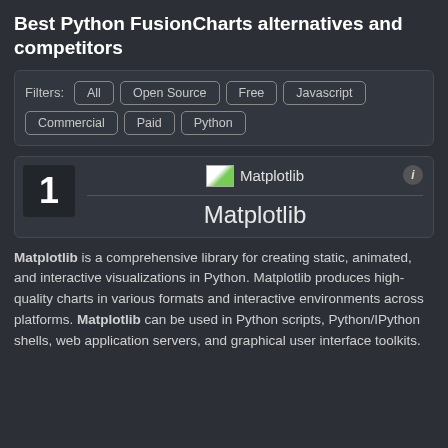Best Python FusionCharts alternatives and competitors
Filters: All | Open Source | Free | Javascript | Commercial | Paid | Python
1 Matplotlib
Matplotlib is a comprehensive library for creating static, animated, and interactive visualizations in Python. Matplotlib produces high-quality charts in various formats and interactive environments across platforms. Matplotlib can be used in Python scripts, Python/IPython shells, web application servers, and graphical user interface toolkits.